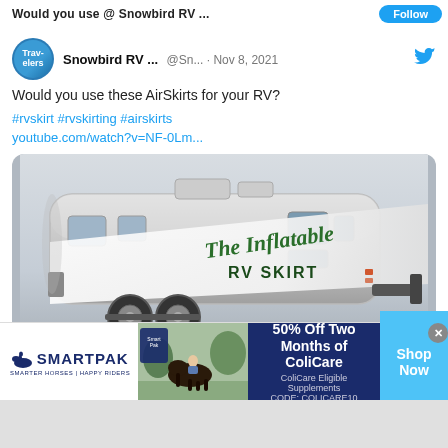Would you use @ Snowbird RV ...
Snowbird RV ... @Sn... · Nov 8, 2021
Would you use these AirSkirts for your RV?
#rvskirt #rvskirting #airskirts youtube.com/watch?v=NF-0Lm...
[Figure (photo): Rendering of an Airstream-style silver travel trailer with an inflatable skirt around its base. Text on the trailer reads 'The Inflatable RV SKIRT' in green script and block lettering.]
50% Off Two Months of ColiCare
ColiCare Eligible Supplements
CODE: COLICARE10
[Figure (logo): SmartPak logo with horse icon and tagline 'SMARTER HORSES | HAPPY RIDERS']